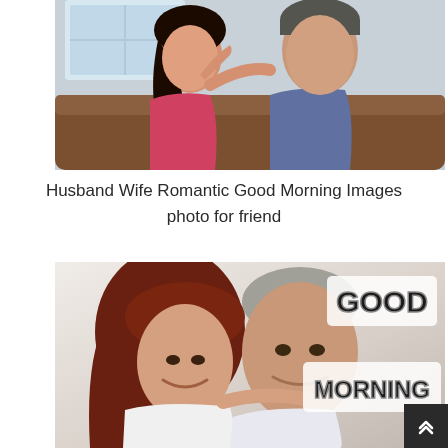[Figure (photo): A couple sitting face to face on a couch, a woman in a pink top and a man in a dark grey t-shirt, looking at each other intimately.]
Husband Wife Romantic Good Morning Images photo for friend
[Figure (photo): A middle-aged couple smiling and laughing together, the woman with red hair leaning on the man's shoulder, with 'GOOD MORNING' text overlay on the right side.]